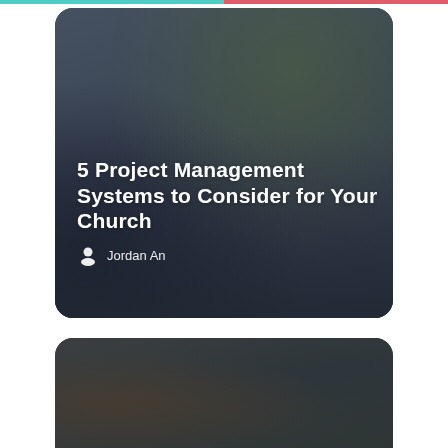[Figure (photo): Card with dark blurred background photo, containing article title '5 Project Management Systems to Consider for Your Church' and author name 'Jordan An' with person icon]
5 Project Management Systems to Consider for Your Church
Jordan An
[Figure (photo): Partial dark card with blurred background visible at bottom of page]